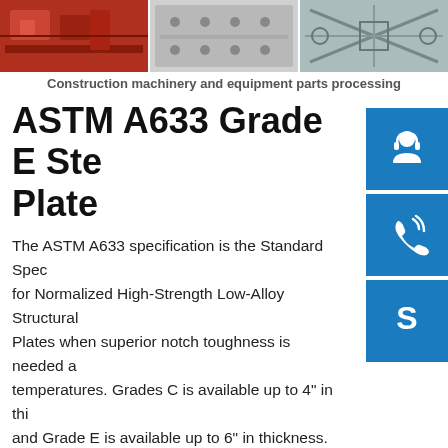[Figure (photo): Three photos of construction machinery and equipment parts: red machinery parts, metal plate with holes, and metal frame components]
Construction machinery and equipment parts processing
ASTM A633 Grade E Steel Plate
The ASTM A633 specification is the Standard Specification for Normalized High-Strength Low-Alloy Structural Plates when superior notch toughness is needed at low temperatures. Grades C is available up to 4" in thickness and Grade E is available up to 6" in thickness. Typical applications are utility poles as plates, offshore platforms, construction equipment frames, electric shovel dipper handles and suspension components.
Low alloy high strength steel plate A633 Grade E is in steel standard ASTM A633/A633M.For the thickness above 75mm,low alloy steel plate A633Gr.E need to be done double normalized.For steel plate A633GrE wider than